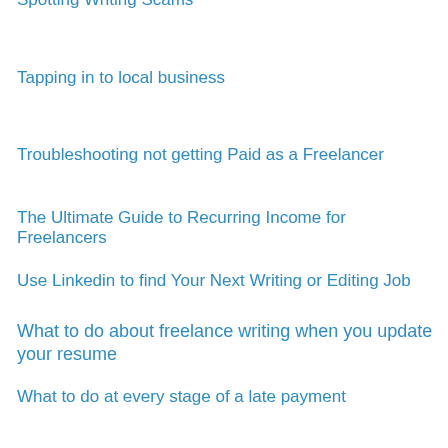Spotting Writing Scams
Tapping in to local business
Troubleshooting not getting Paid as a Freelancer
The Ultimate Guide to Recurring Income for Freelancers
Use Linkedin to find Your Next Writing or Editing Job
What to do about freelance writing when you update your resume
What to do at every stage of a late payment
What to do when asked to give away your work
When they don't pay
When to say no to Unpaid Freelance Work